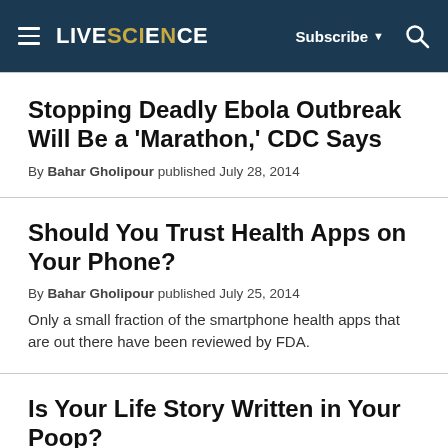LIVESCIENCE — Subscribe ▼ 🔍
Stopping Deadly Ebola Outbreak Will Be a 'Marathon,' CDC Says
By Bahar Gholipour published July 28, 2014
Should You Trust Health Apps on Your Phone?
By Bahar Gholipour published July 25, 2014
Only a small fraction of the smartphone health apps that are out there have been reviewed by FDA.
Is Your Life Story Written in Your Poop?